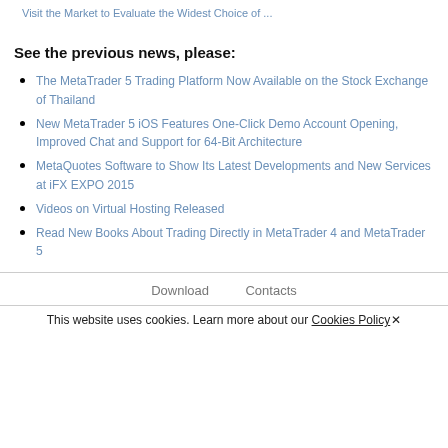Visit the Market to Evaluate the Widest Choice of ...
See the previous news, please:
The MetaTrader 5 Trading Platform Now Available on the Stock Exchange of Thailand
New MetaTrader 5 iOS Features One-Click Demo Account Opening, Improved Chat and Support for 64-Bit Architecture
MetaQuotes Software to Show Its Latest Developments and New Services at iFX EXPO 2015
Videos on Virtual Hosting Released
Read New Books About Trading Directly in MetaTrader 4 and MetaTrader 5
Download   Contacts
This website uses cookies. Learn more about our Cookies Policy ✕